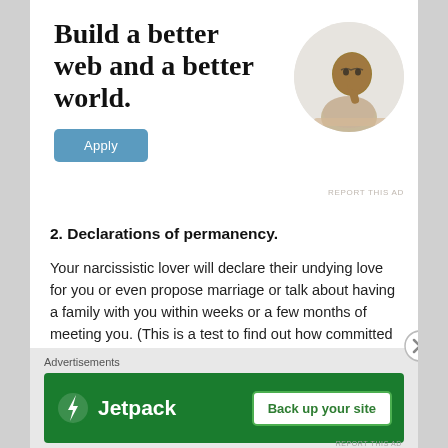[Figure (infographic): Web advertisement with text 'Build a better web and a better world.' and a blue Apply button, plus a circular image of a person thinking at a desk.]
2. Declarations of permanency.
Your narcissistic lover will declare their undying love for you or even propose marriage or talk about having a family with you within weeks or a few months of meeting you. (This is a test to find out how committed you are and helps them guage how much abuse you will tolerate/supply you can provide).
[Figure (infographic): Jetpack advertisement banner with green background, Jetpack logo and 'Back up your site' button.]